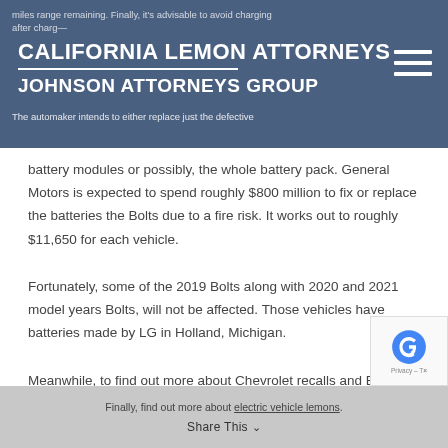CALIFORNIA LEMON ATTORNEYS
JOHNSON ATTORNEYS GROUP
battery modules or possibly, the whole battery pack. General Motors is expected to spend roughly $800 million to fix or replace the batteries the Bolts due to a fire risk. It works out to roughly $11,650 for each vehicle.
Fortunately, some of the 2019 Bolts along with 2020 and 2021 model years Bolts, will not be affected. Those vehicles have batteries made by LG in Holland, Michigan.
Meanwhile, to find out more about Chevrolet recalls and Bolt Electric Vehicles, owners may visit Chevy’s dedicated site, call 833-382-4389. Additionally, they may visit NHTSA’s website
Finally, find out more about electric vehicle lemons.
Share This